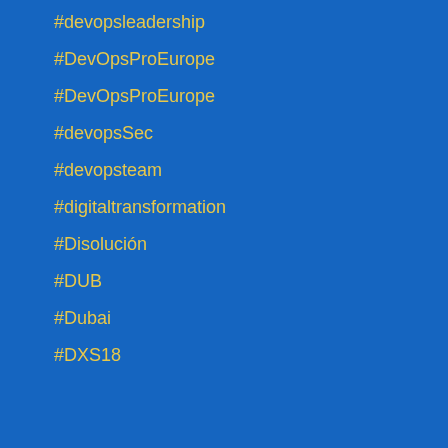#devopsleadership
#DevOpsProEurope
#DevOpsProEurope
#devopsSec
#devopsteam
#digitaltransformation
#Disolución
#DUB
#Dubai
#DXS18